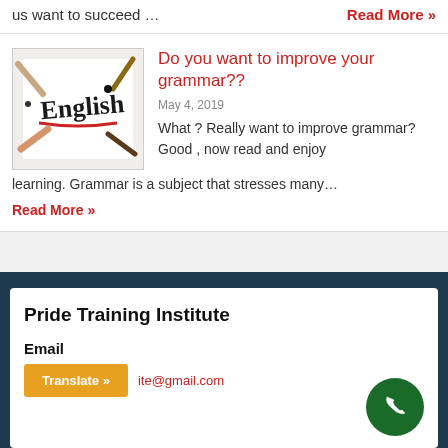us want to succeed …
Read More »
[Figure (photo): Image showing the word 'English' written on paper surrounded by hands holding pens and pencils]
Do you want to improve your grammar??
May 4, 2019
What ? Really want to improve grammar?Good , now read and enjoy learning. Grammar is a subject that stresses many…
Read More »
Pride Training Institute
Email
Translate »
ite@gmail.com